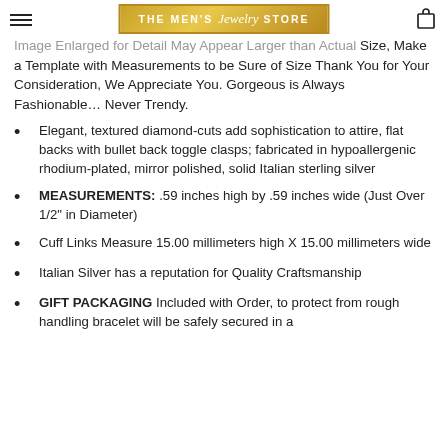The Men's Jewelry Store
Image Enlarged for Detail May Appear Larger than Actual Size, Make a Template with Measurements to be Sure of Size Thank You for Your Consideration, We Appreciate You. Gorgeous is Always Fashionable... Never Trendy.
Elegant, textured diamond-cuts add sophistication to attire, flat backs with bullet back toggle clasps; fabricated in hypoallergenic rhodium-plated, mirror polished, solid Italian sterling silver
MEASUREMENTS: .59 inches high by .59 inches wide (Just Over 1/2" in Diameter)
Cuff Links Measure 15.00 millimeters high X 15.00 millimeters wide
Italian Silver has a reputation for Quality Craftsmanship
GIFT PACKAGING Included with Order, to protect from rough handling bracelet will be safely secured in a